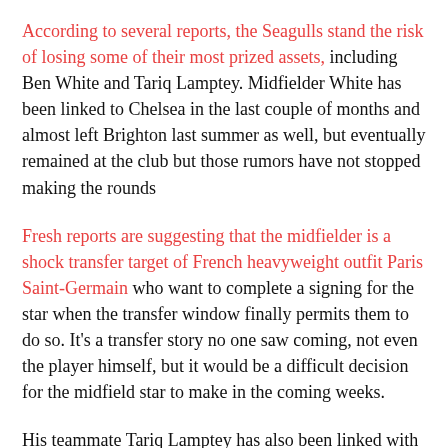According to several reports, the Seagulls stand the risk of losing some of their most prized assets, including Ben White and Tariq Lamptey. Midfielder White has been linked to Chelsea in the last couple of months and almost left Brighton last summer as well, but eventually remained at the club but those rumors have not stopped making the rounds
Fresh reports are suggesting that the midfielder is a shock transfer target of French heavyweight outfit Paris Saint-Germain who want to complete a signing for the star when the transfer window finally permits them to do so. It's a transfer story no one saw coming, not even the player himself, but it would be a difficult decision for the midfield star to make in the coming weeks.
His teammate Tariq Lamptey has also been linked with an exit and could leave the club this summer as well. And that's why Brighton have lined up a possible move for Manchester